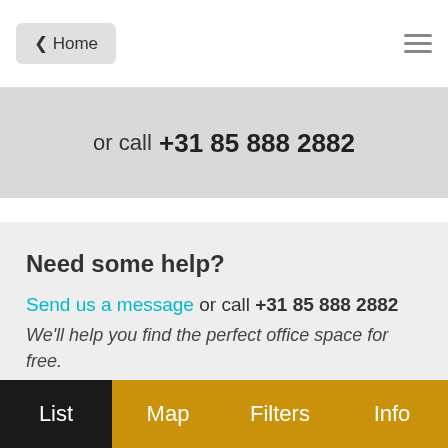< Home
or call +31 85 888 2882
Need some help?
Send us a message or call +31 85 888 2882 We'll help you find the perfect office space for free.
About Launchdesk (by SKEPP)
The team
Our blog (in Dutch)
Privacy policy
Contact
List  Map  Filters  Info